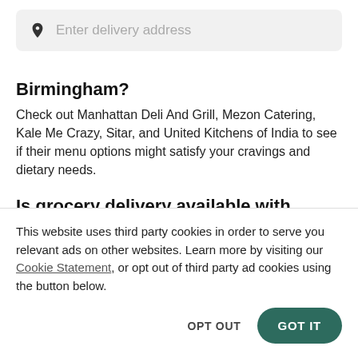[Figure (other): Search bar with pin/location icon and placeholder text 'Enter delivery address']
Birmingham?
Check out Manhattan Deli And Grill, Mezon Catering, Kale Me Crazy, Sitar, and United Kitchens of India to see if their menu options might satisfy your cravings and dietary needs.
Is grocery delivery available with Postmates in Birmingham?
This website uses third party cookies in order to serve you relevant ads on other websites. Learn more by visiting our Cookie Statement, or opt out of third party ad cookies using the button below.